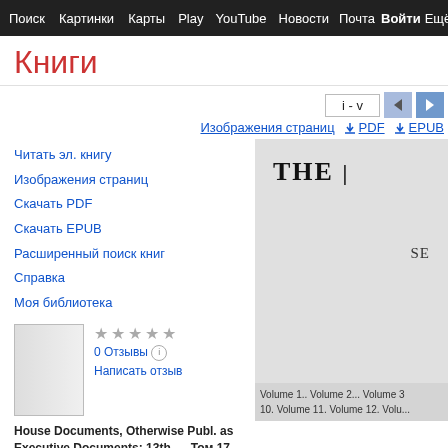Поиск  Картинки  Карты  Play  YouTube  Новости  Почта  Войти  Ещё  Войти
Книги
i - v
Изображения страниц   PDF   EPUB
Читать эл. книгу
Изображения страниц
Скачать PDF
Скачать EPUB
Расширенный поиск книг
Справка
Моя библиотека
[Figure (other): Book thumbnail placeholder]
★★★★★
0 Отзывы
Написать отзыв
House Documents, Otherwise Publ. as Executive Documents: 13th ..., Том 17
[Figure (other): Book page preview showing 'THE' and 'SE' text with volume information: Volume 1.. Volume 2... Volume 3 10. Volume 11. Volume 12. Volu...]